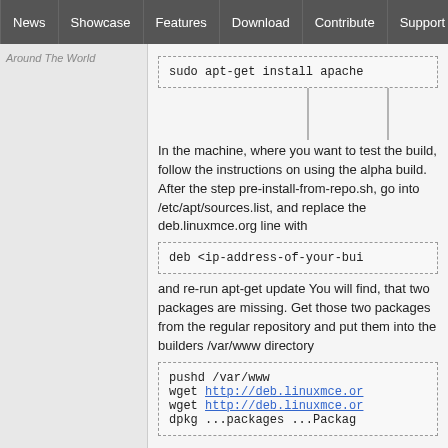News | Showcase | Features | Download | Contribute | Support
Around The World
[Figure (screenshot): Code box with dashed border showing: sudo apt-get install apache with vertical connector lines below]
In the machine, where you want to test the build, follow the instructions on using the alpha build. After the step pre-install-from-repo.sh, go into /etc/apt/sources.list, and replace the deb.linuxmce.org line with
[Figure (screenshot): Code box with dashed border showing: deb <ip-address-of-your-bui]
and re-run apt-get update You will find, that two packages are missing. Get those two packages from the regular repository and put them into the builders /var/www directory
[Figure (screenshot): Code box with dashed border showing multi-line code: pushd /var/www, wget http://deb.linuxmce.or, wget http://deb.linuxmce.or, dpkg ...packages ...Packag]